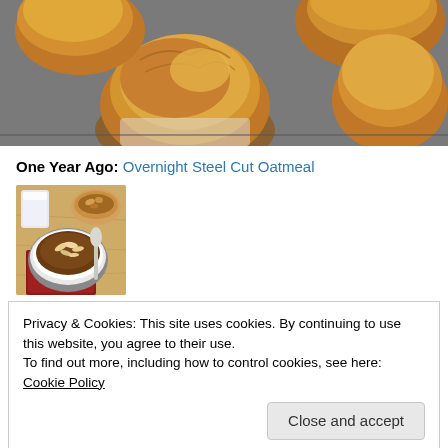[Figure (photo): Close-up photo of golden-brown baked muffins in a metal muffin tin, viewed from above]
One Year Ago: Overnight Steel Cut Oatmeal
[Figure (photo): Small thumbnail photo of a bowl of oatmeal topped with sliced almonds, with a cup of milk and nuts in the background, on a red napkin]
Privacy & Cookies: This site uses cookies. By continuing to use this website, you agree to their use.
To find out more, including how to control cookies, see here: Cookie Policy
[Figure (photo): Partial view of another food photo at the bottom of the page, appears red/pink colored food]